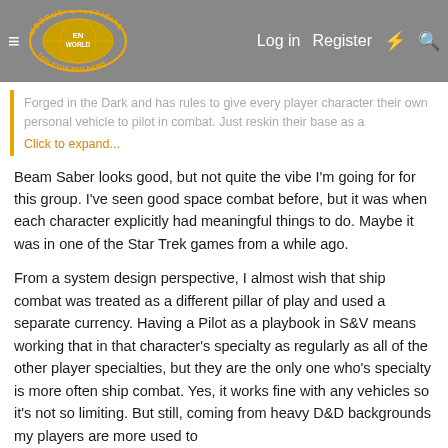Morrus' Unofficial Tabletop RPG News — Log in  Register
Forged in the Dark and has rules to give every player character their own personal vehicle to pilot in combat. Just reskin their base as a
Click to expand...
Beam Saber looks good, but not quite the vibe I'm going for for this group. I've seen good space combat before, but it was when each character explicitly had meaningful things to do. Maybe it was in one of the Star Trek games from a while ago.
From a system design perspective, I almost wish that ship combat was treated as a different pillar of play and used a separate currency. Having a Pilot as a playbook in S&V means working that in that character's specialty as regularly as all of the other player specialties, but they are the only one who's specialty is more often ship combat. Yes, it works fine with any vehicles so it's not so limiting. But still, coming from heavy D&D backgrounds my players are more used to